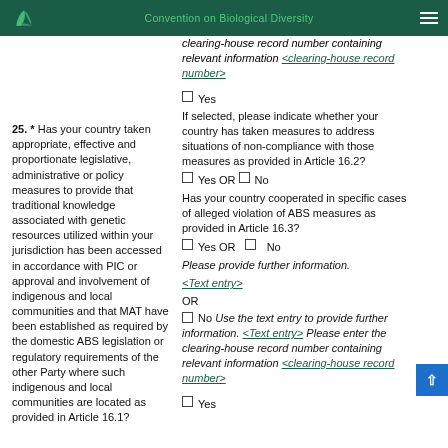Convention on Biological Diversity
clearing-house record number containing relevant information <clearing-house record number>
25. * Has your country taken appropriate, effective and proportionate legislative, administrative or policy measures to provide that traditional knowledge associated with genetic resources utilized within your jurisdiction has been accessed in accordance with PIC or approval and involvement of indigenous and local communities and that MAT have been established as required by the domestic ABS legislation or regulatory requirements of the other Party where such indigenous and local communities are located as provided in Article 16.1?
Yes
If selected, please indicate whether your country has taken measures to address situations of non-compliance with those measures as provided in Article 16.2?
Yes OR No
Has your country cooperated in specific cases of alleged violation of ABS measures as provided in Article 16.3?
Yes OR No Please provide further information. <Text entry>
OR
No Use the text entry to provide further information. <Text entry> Please enter the clearing-house record number containing relevant information <clearing-house record number>
Yes